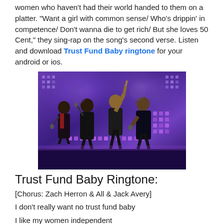women who haven't had their world handed to them on a platter. "Want a girl with common sense/ Who's drippin' in competence/ Don't wanna die to get rich/ But she loves 50 Cent," they sing-rap on the song's second verse. Listen and download Trust Fund Baby ringtone for your android or ios.
[Figure (photo): Four young men performing on a concert stage with purple/blue LED lighting backdrop, holding microphones]
Trust Fund Baby Ringtone:
[Chorus: Zach Herron & All & Jack Avery]
I don't really want no trust fund baby
I like my women independent
And I say to people, 'That's my lady'